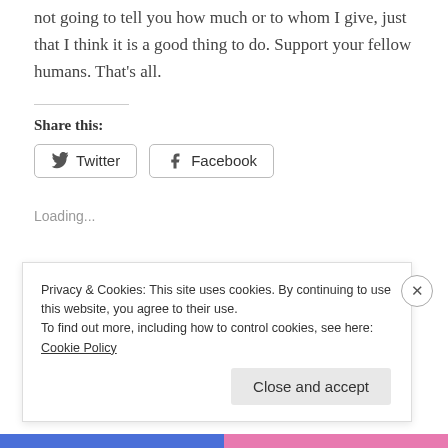not going to tell you how much or to whom I give, just that I think it is a good thing to do. Support your fellow humans. That's all.
Share this:
[Figure (other): Twitter and Facebook share buttons]
Loading...
Privacy & Cookies: This site uses cookies. By continuing to use this website, you agree to their use.
To find out more, including how to control cookies, see here: Cookie Policy
Close and accept